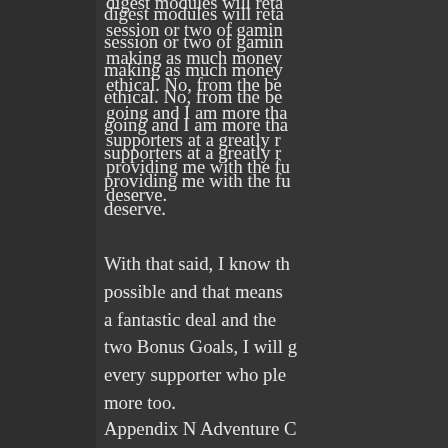digest modules will retail a session or two of gaming making as much money ethical. No, from the beginning going and I am more than supporters at a greatly reduced providing me with the funding deserve.
With that said, I know that possible and that means a fantastic deal and the two Bonus Goals, I will every supporter who pledged more too.
Appendix N Adventure Something I did not even supporting the DCC RPG